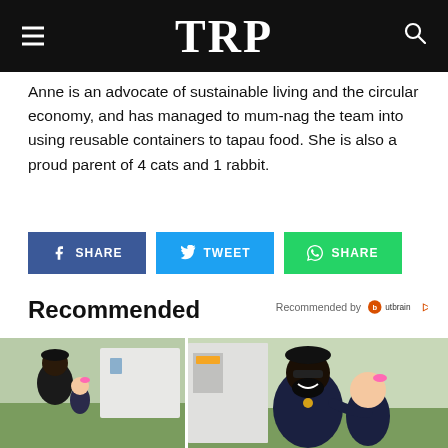TRP
Anne is an advocate of sustainable living and the circular economy, and has managed to mum-nag the team into using reusable containers to tapau food. She is also a proud parent of 4 cats and 1 rabbit.
[Figure (other): Three social share buttons: Facebook SHARE (blue), Twitter TWEET (light blue), WhatsApp SHARE (green)]
Recommended
Recommended by Outbrain
[Figure (photo): Two side-by-side photos of a man with a young girl with a pink bow, near a truck outdoors with green grass in background]